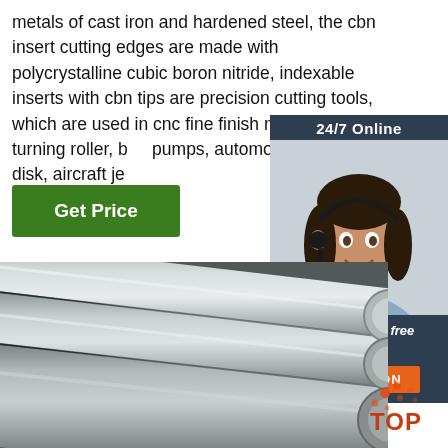metals of cast iron and hardened steel, the cbn insert cutting edges are made with polycrystalline cubic boron nitride, indexable inserts with cbn tips are precision cutting tools, which are used in cnc fine finish machining and turning roller, b... pumps, automobile brake disk, aircraft je...
[Figure (other): Green 'Get Price' button]
[Figure (other): 24/7 Online chat widget with agent photo, 'Click here for free chat!' text, and QUOTATION button]
[Figure (photo): Photo of hardened steel round rods/bars arranged diagonally on a dark surface]
[Figure (logo): TOP logo with orange dots in bottom right corner]